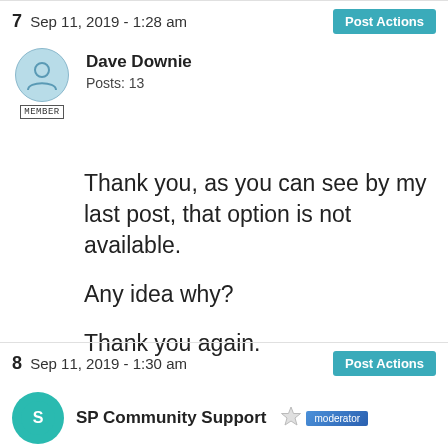7  Sep 11, 2019 - 1:28 am
Dave Downie
Posts: 13
Thank you, as you can see by my last post, that option is not available.

Any idea why?

Thank you again.
8  Sep 11, 2019 - 1:30 am
SP Community Support